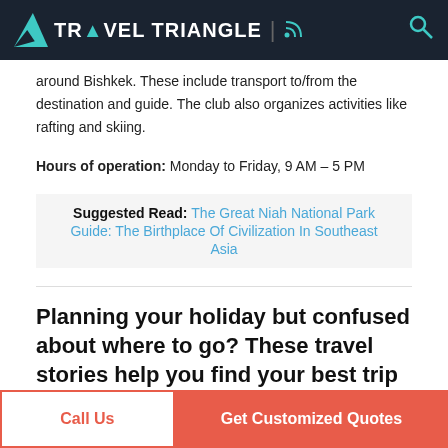Travel Triangle
around Bishkek. These include transport to/from the destination and guide. The club also organizes activities like rafting and skiing.
Hours of operation: Monday to Friday, 9 AM – 5 PM
Suggested Read: The Great Niah National Park Guide: The Birthplace Of Civilization In Southeast Asia
Planning your holiday but confused about where to go? These travel stories help you find your best trip ever!
Call Us | Get Customized Quotes